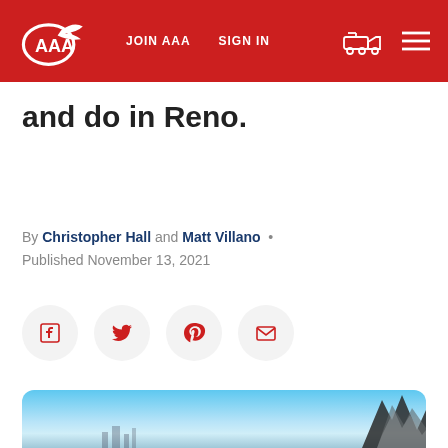AAA — JOIN AAA | SIGN IN
… there's never been more to see and do in Reno.
By Christopher Hall and Matt Villano •
Published November 13, 2021
[Figure (illustration): Social sharing buttons: Facebook, Twitter, Pinterest, Email — circular light-gray buttons with red icons]
[Figure (photo): Photo of Reno with blue sky and a reflective geometric sculpture on the right side]